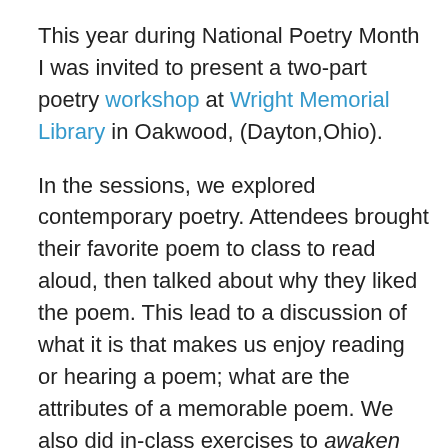This year during National Poetry Month I was invited to present a two-part poetry workshop at Wright Memorial Library in Oakwood, (Dayton,Ohio).
In the sessions, we explored contemporary poetry. Attendees brought their favorite poem to class to read aloud, then talked about why they liked the poem. This lead to a discussion of what it is that makes us enjoy reading or hearing a poem; what are the attributes of a memorable poem. We also did in-class exercises to awaken the muse.
During the second session, participants read a poem they wrote from a prompt. It was thrilling to hear what these individuals had created.
It was a delight to facilitate such eager and talented